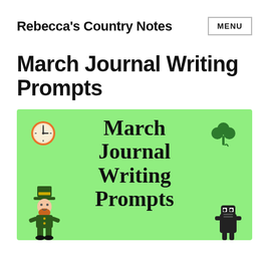Rebecca's Country Notes MENU
March Journal Writing Prompts
[Figure (illustration): Light green rectangular banner image with 'March Journal Writing Prompts' in large bold serif text in the center. A clock icon is in the upper left, a green shamrock in the upper right, a leprechaun figure in the lower left, and a small monster figure in the lower right.]